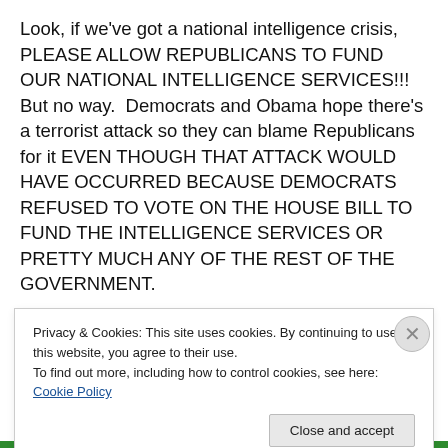Look, if we've got a national intelligence crisis, PLEASE ALLOW REPUBLICANS TO FUND OUR NATIONAL INTELLIGENCE SERVICES!!!  But no way.  Democrats and Obama hope there's a terrorist attack so they can blame Republicans for it EVEN THOUGH THAT ATTACK WOULD HAVE OCCURRED BECAUSE DEMOCRATS REFUSED TO VOTE ON THE HOUSE BILL TO FUND THE INTELLIGENCE SERVICES OR PRETTY MUCH ANY OF THE REST OF THE GOVERNMENT.
That is about as evil as it gets.  Democrats remind me of
Privacy & Cookies: This site uses cookies. By continuing to use this website, you agree to their use.
To find out more, including how to control cookies, see here: Cookie Policy
Close and accept